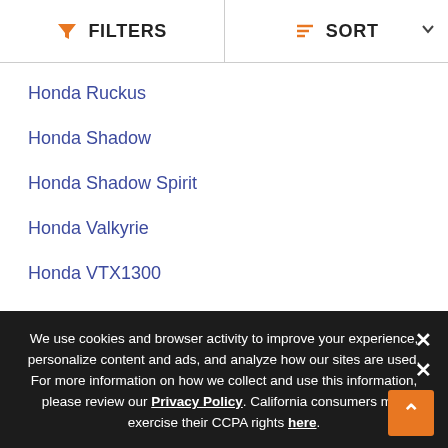FILTERS   SORT
Honda Ruckus
Honda Shadow
Honda Shadow Spirit
Honda Valkyrie
Honda VTX1300
Honda VTX1800
Honda XR650L
Top Honda Super Cub C125 Years
2022 Honda Super Cub C125
We use cookies and browser activity to improve your experience, personalize content and ads, and analyze how our sites are used. For more information on how we collect and use this information, please review our Privacy Policy. California consumers may exercise their CCPA rights here.